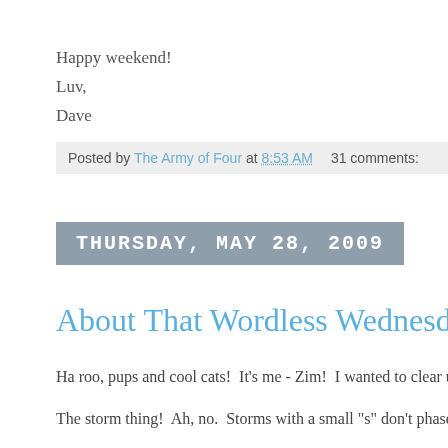Happy weekend!
Luv,
Dave
Posted by The Army of Four at 8:53 AM    31 comments:
THURSDAY, MAY 28, 2009
About That Wordless Wednesd…
Ha roo, pups and cool cats!  It's me - Zim!  I wanted to clear u
The storm thing!  Ah, no.  Storms with a small "s" don't phase